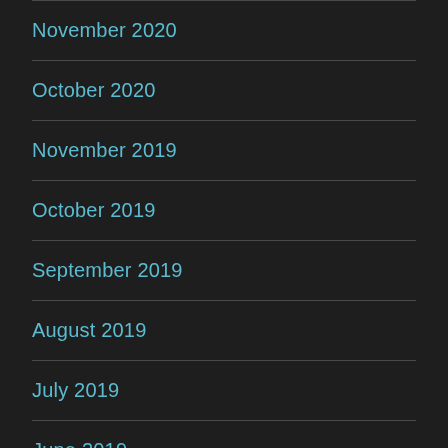November 2020
October 2020
November 2019
October 2019
September 2019
August 2019
July 2019
June 2019